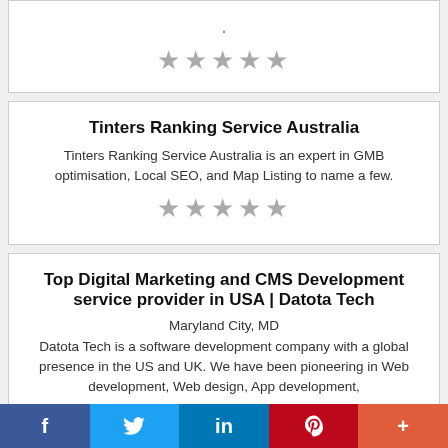[Figure (other): Top card (partial): dot and 5 grey stars rating]
Tinters Ranking Service Australia
Tinters Ranking Service Australia is an expert in GMB optimisation, Local SEO, and Map Listing to name a few.
[Figure (other): 5 grey stars rating]
Top Digital Marketing and CMS Development service provider in USA | Datota Tech
Maryland City, MD
Datota Tech is a software development company with a global presence in the US and UK. We have been pioneering in Web development, Web design, App development,
f  Twitter  in  Pinterest  +